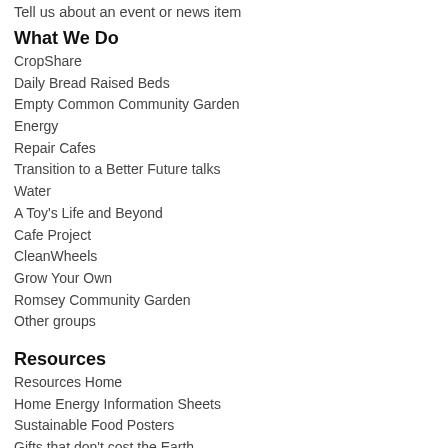Tell us about an event or news item
What We Do
CropShare
Daily Bread Raised Beds
Empty Common Community Garden
Energy
Repair Cafes
Transition to a Better Future talks
Water
A Toy's Life and Beyond
Cafe Project
CleanWheels
Grow Your Own
Romsey Community Garden
Other groups
Resources
Resources Home
Home Energy Information Sheets
Sustainable Food Posters
Gifts that don't cost the Earth
Links
Resources for Transitioners
Web administration
Web writing help
Pmwiki documentation